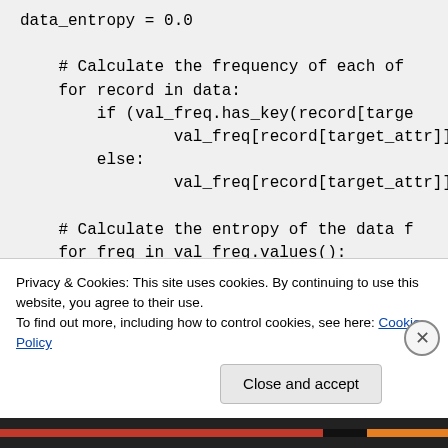data_entropy = 0.0

    # Calculate the frequency of each of
    for record in data:
        if (val_freq.has_key(record[targe
                val_freq[record[target_attr]]
        else:
                val_freq[record[target_attr]]

    # Calculate the entropy of the data f
    for freq in val_freq.values():
Privacy & Cookies: This site uses cookies. By continuing to use this website, you agree to their use.
To find out more, including how to control cookies, see here: Cookie Policy
Close and accept